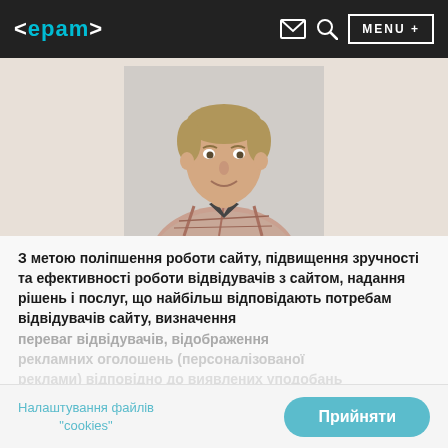<epam> [mail icon] [search icon] MENU +
[Figure (photo): Headshot photo of a middle-aged man in a plaid shirt, smiling, against a light grey wall background]
З метою поліпшення роботи сайту, підвищення зручності та ефективності роботи відвідувачів з сайтом, надання рішень і послуг, що найбільш відповідають потребам відвідувачів сайту, визначення переваг відвідувачів, відображення рекламних оголошень (персоналізованої реклами) відповідно до виявлених переваг
Налаштування файлів "cookies"
Прийняти